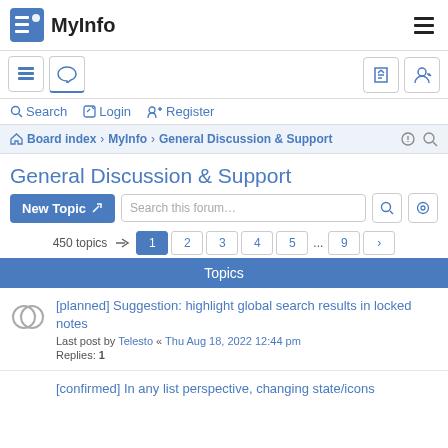MyInfo
Search  Login  Register
Board index > MyInfo > General Discussion & Support
General Discussion & Support
New Topic   Search this forum...   450 topics   1 2 3 4 5 ... 9 >
Topics
[planned] Suggestion: highlight global search results in locked notes
Last post by Telesto « Thu Aug 18, 2022 12:44 pm
Replies: 1
[confirmed] In any list perspective, changing state/icons